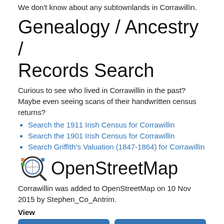We don't know about any subtownlands in Corrawillin.
Genealogy / Ancestry / Records Search
Curious to see who lived in Corrawillin in the past? Maybe even seeing scans of their handwritten census returns?
Search the 1911 Irish Census for Corrawillin
Search the 1901 Irish Census for Corrawillin
Search Griffith's Valuation (1847-1864) for Corrawillin
OpenStreetMap
Corrawillin was added to OpenStreetMap on 10 Nov 2015 by Stephen_Co_Antrim.
View
View on OpenStreetMap.org
Show Changes
Edit
JOSM
iD
Potlatch
Level0